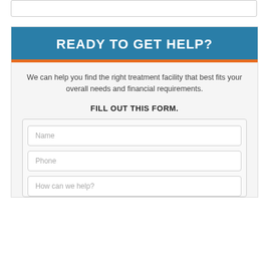READY TO GET HELP?
We can help you find the right treatment facility that best fits your overall needs and financial requirements.
FILL OUT THIS FORM.
Name
Phone
How can we help?